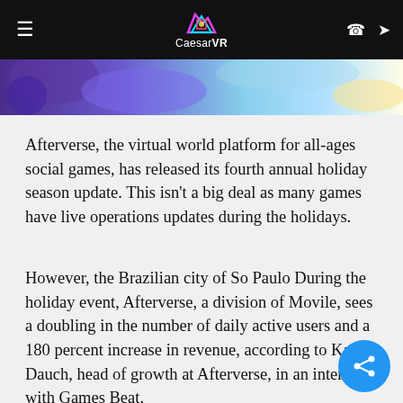CaesarVR
[Figure (photo): Partial colorful hero image visible at top, blue/purple tones]
Afterverse, the virtual world platform for all-ages social games, has released its fourth annual holiday season update. This isn't a big deal as many games have live operations updates during the holidays.
However, the Brazilian city of So Paulo During the holiday event, Afterverse, a division of Movile, sees a doubling in the number of daily active users and a 180 percent increase in revenue, according to Karina Dauch, head of growth at Afterverse, in an interview with Games Beat.